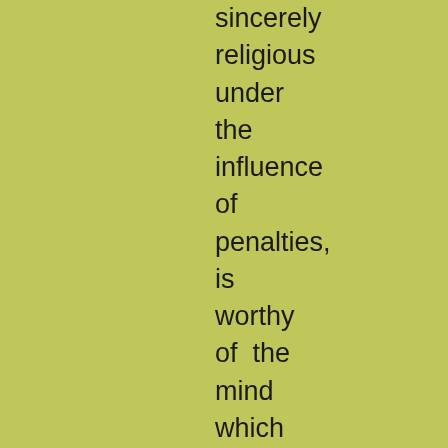sincerely religious under the influence of penalties, is worthy of the mind which could form such a mass of monstrous absurdity